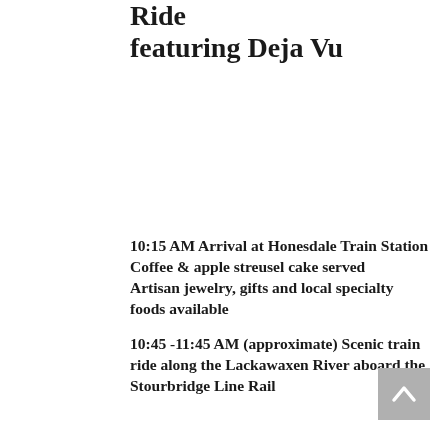Ride featuring Deja Vu
10:15 AM Arrival at Honesdale Train Station
Coffee & apple streusel cake served
Artisan jewelry, gifts and local specialty foods available
10:45 -11:45 AM (approximate) Scenic train ride along the Lackawaxen River aboard the Stourbridge Line Rail